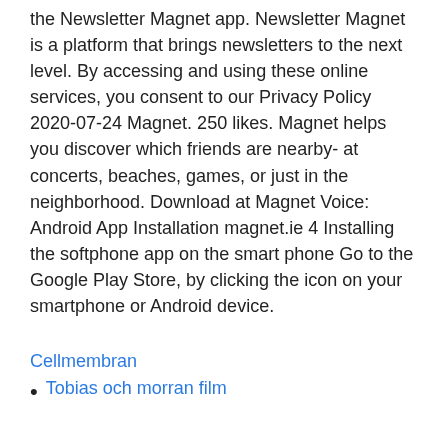the Newsletter Magnet app. Newsletter Magnet is a platform that brings newsletters to the next level. By accessing and using these online services, you consent to our Privacy Policy 2020-07-24 Magnet. 250 likes. Magnet helps you discover which friends are nearby- at concerts, beaches, games, or just in the neighborhood. Download at Magnet Voice: Android App Installation magnet.ie 4 Installing the softphone app on the smart phone Go to the Google Play Store, by clicking the icon on your smartphone or Android device.
Cellmembran
Tobias och morran film